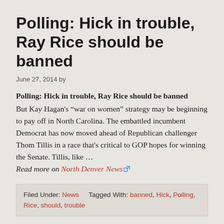Polling: Hick in trouble, Ray Rice should be banned
June 27, 2014 by
Polling: Hick in trouble, Ray Rice should be banned
But Kay Hagan's “war on women” strategy may be beginning to pay off in North Carolina. The embattled incumbent Democrat has now moved ahead of Republican challenger Thom Tillis in a race that's critical to GOP hopes for winning the Senate. Tillis, like ...
Read more on North Denver News
Filed Under: News · Tagged With: banned, Hick, Polling, Rice, should, trouble